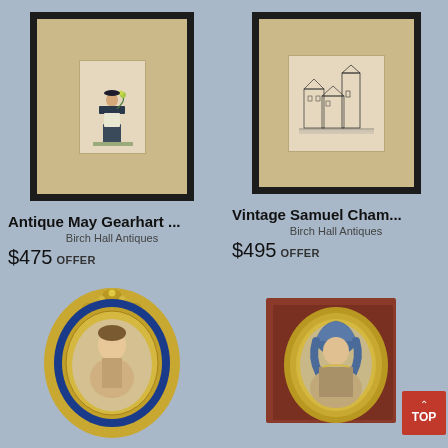[Figure (photo): Antique framed May Gearhart print showing a figure in traditional dress holding flowers, black frame with beige mat]
Antique May Gearhart ...
Birch Hall Antiques
$475 OFFER
[Figure (photo): Vintage framed Samuel Chambers etching showing a European street scene with buildings and church tower, black frame with beige mat]
Vintage Samuel Cham...
Birch Hall Antiques
$495 OFFER
[Figure (photo): Antique oval miniature portrait in ornate gold and blue enamel frame showing a woman]
[Figure (photo): Antique oval miniature portrait in gold frame set on red/brown board showing a woman in blue headwear]